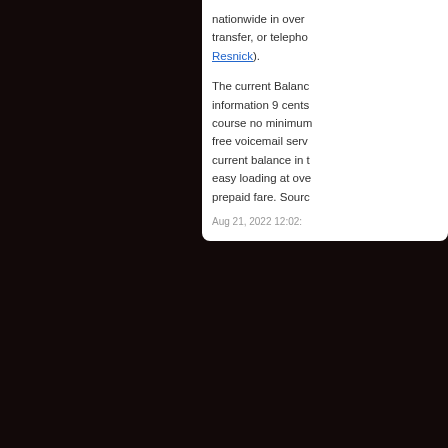nationwide in over transfer, or telepho Resnick).
The current Balanc information 9 cents course no minimum free voicemail serv current balance in t easy loading at ove prepaid fare. Sourc
Aug 21, 2022 12:02:
Com
Curare Pr
Curare production curare productive c perspective for the